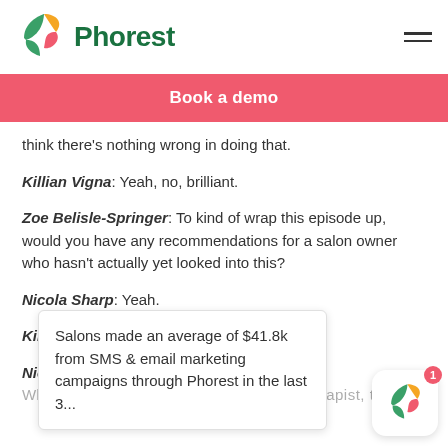Phorest
Book a demo
think there's nothing wrong in doing that.
Killian Vigna: Yeah, no, brilliant.
Zoe Belisle-Springer: To kind of wrap this episode up, would you have any recommendations for a salon owner who hasn't actually yet looked into this?
Nicola Sharp: Yeah.
Killian Vigna: T
Nicola Sharp: …
Salons made an average of $41.8k from SMS & email marketing campaigns through Phorest in the last 3...